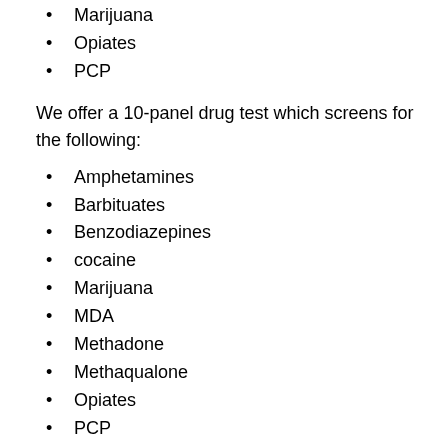Marijuana
Opiates
PCP
We offer a 10-panel drug test which screens for the following:
Amphetamines
Barbituates
Benzodiazepines
cocaine
Marijuana
MDA
Methadone
Methaqualone
Opiates
PCP
Propoxyphene